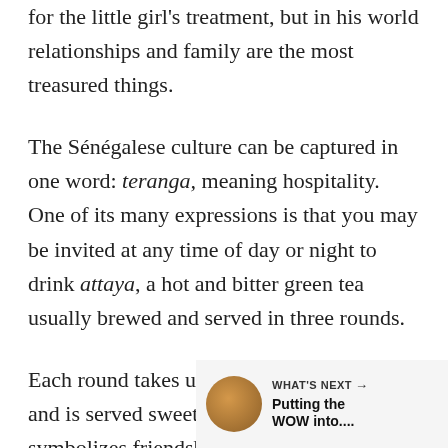for the little girl's treatment, but in his world relationships and family are the most treasured things.
The Sénégalese culture can be captured in one word: teranga, meaning hospitality. One of its many expressions is that you may be invited at any time of day or night to drink attaya, a hot and bitter green tea usually brewed and served in three rounds.
Each round takes up to an hour to prepare, and is served sweeter than the last. It symbolizes friendship, growing